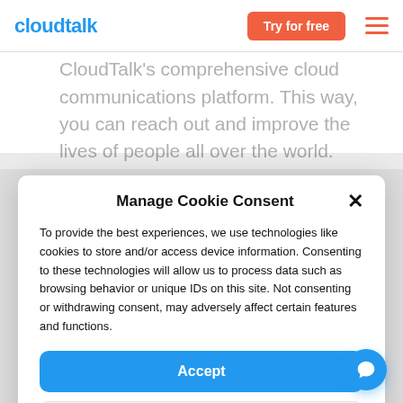cloudtalk — Try for free
CloudTalk's comprehensive cloud communications platform. This way, you can reach out and improve the lives of people all over the world.
Manage Cookie Consent
To provide the best experiences, we use technologies like cookies to store and/or access device information. Consenting to these technologies will allow us to process data such as browsing behavior or unique IDs on this site. Not consenting or withdrawing consent, may adversely affect certain features and functions.
Accept
Setup preferences